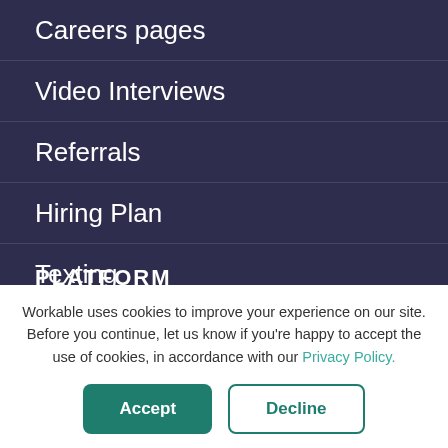Careers pages
Video Interviews
Referrals
Hiring Plan
Texting
All features
Workable uses cookies to improve your experience on our site. Before you continue, let us know if you're happy to accept the use of cookies, in accordance with our Privacy Policy.
Accept | Decline